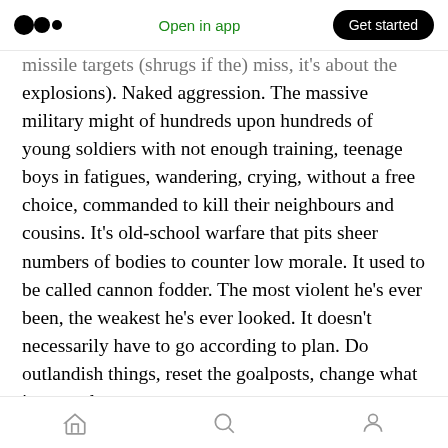Medium logo | Open in app | Get started
missile targets (shrugs if the) miss, it's about the explosions). Naked aggression. The massive military might of hundreds upon hundreds of young soldiers with not enough training, teenage boys in fatigues, wandering, crying, without a free choice, commanded to kill their neighbours and cousins. It's old-school warfare that pits sheer numbers of bodies to counter low morale. It used to be called cannon fodder. The most violent he's ever been, the weakest he's ever looked. It doesn't necessarily have to go according to plan. Do outlandish things, reset the goalposts, change what is normal
Home | Search | Profile